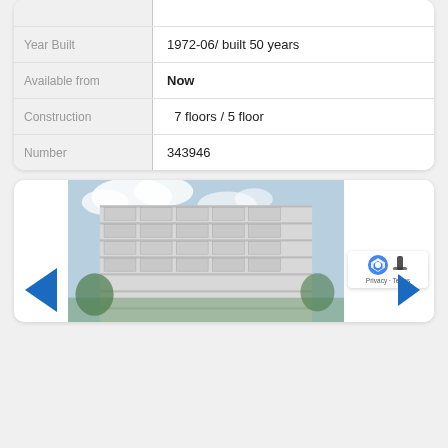| Label | Value |
| --- | --- |
| Year Built | 1972-06/ built 50 years |
| Available from | Now |
| Construction | 7 floors  / 5 floor |
| Number | 343946 |
[Figure (photo): Exterior photo of a multi-story apartment building with balconies, photographed from below against a partly cloudy sky. Blue navigation arrows on left and right sides of the image viewer.]